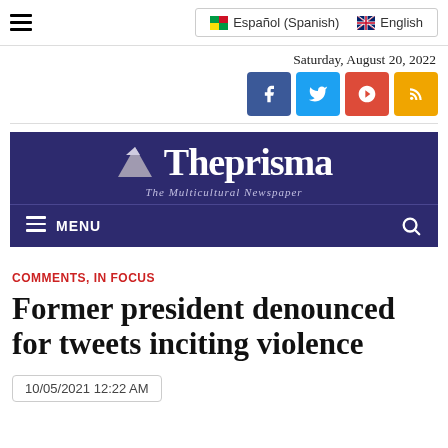Español (Spanish) | English
Saturday, August 20, 2022
[Figure (logo): The Prisma - The Multicultural Newspaper logo on dark purple banner with triangle icon]
COMMENTS, IN FOCUS
Former president denounced for tweets inciting violence
10/05/2021 12:22 AM